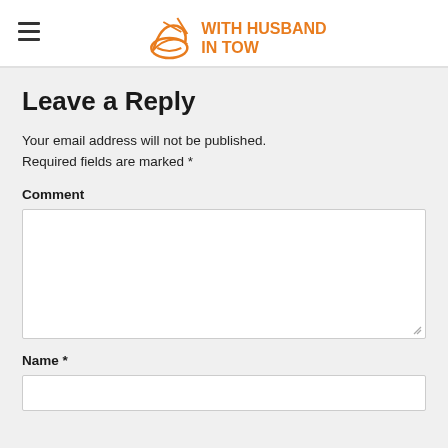WITH HUSBAND IN TOW
Leave a Reply
Your email address will not be published. Required fields are marked *
Comment
Name *